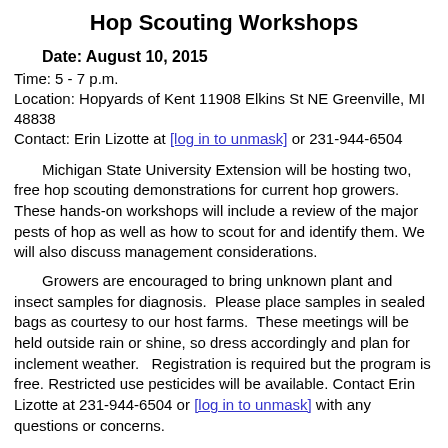Hop Scouting Workshops
Date: August 10, 2015
Time: 5 - 7 p.m.
Location: Hopyards of Kent 11908 Elkins St NE Greenville, MI 48838
Contact: Erin Lizotte at [log in to unmask] or 231-944-6504
Michigan State University Extension will be hosting two, free hop scouting demonstrations for current hop growers. These hands-on workshops will include a review of the major pests of hop as well as how to scout for and identify them. We will also discuss management considerations.
Growers are encouraged to bring unknown plant and insect samples for diagnosis. Please place samples in sealed bags as courtesy to our host farms. These meetings will be held outside rain or shine, so dress accordingly and plan for inclement weather. Registration is required but the program is free. Restricted use pesticides will be available. Contact Erin Lizotte at 231-944-6504 or [log in to unmask] with any questions or concerns.